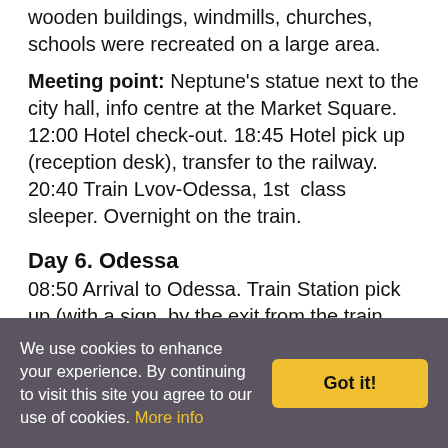wooden buildings, windmills, churches, schools were recreated on a large area.
Meeting point: Neptune's statue next to the city hall, info centre at the Market Square. 12:00 Hotel check-out. 18:45 Hotel pick up (reception desk), transfer to the railway. 20:40 Train Lvov-Odessa, 1st class sleeper. Overnight on the train.
Day 6. Odessa
08:50 Arrival to Odessa. Train Station pick up (with a sign, by the exit from the train car), transfer to the hotel. Free Odessa tour at 15:00. Odessa is a port city in Ukraine, which is the fifth largest in the country. It is situated on the Black Sea coast.
We use cookies to enhance your experience. By continuing to visit this site you agree to our use of cookies. More info